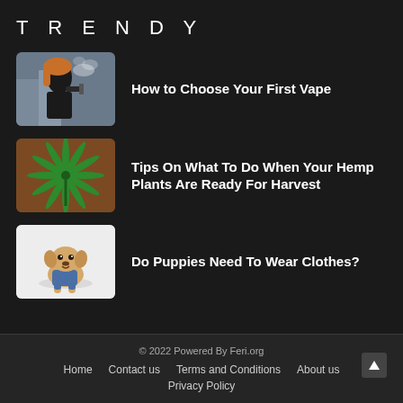TRENDY
[Figure (photo): Woman exhaling vapor from a vape device outdoors, blurred urban background]
How to Choose Your First Vape
[Figure (photo): Close-up of a hemp/cannabis plant leaf with green leaves against a reddish-brown background]
Tips On What To Do When Your Hemp Plants Are Ready For Harvest
[Figure (photo): Small puppy wearing blue denim clothes/overalls sitting on a white surface]
Do Puppies Need To Wear Clothes?
© 2022 Powered By Feri.org
Home   Contact us   Terms and Conditions   About us
Privacy Policy